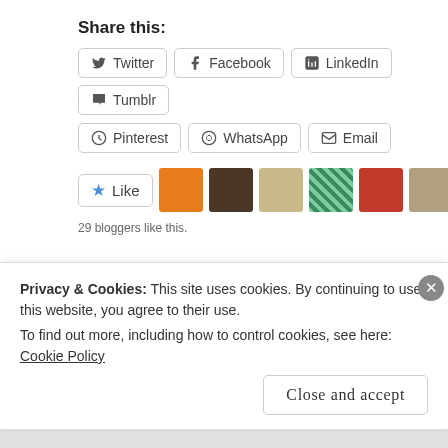Share this:
Twitter
Facebook
LinkedIn
Tumblr
Pinterest
WhatsApp
Email
Like
29 bloggers like this.
I shed beautiful tears while reading Court of Lions by Somaiya Daud + A Giveaway
4th August 2020
Literary Blogging 101: Content Creation for Literary Blogs.
27th December 2018
In “Literary Blogging
Privacy & Cookies: This site uses cookies. By continuing to use this website, you agree to their use.
To find out more, including how to control cookies, see here: Cookie Policy
Close and accept